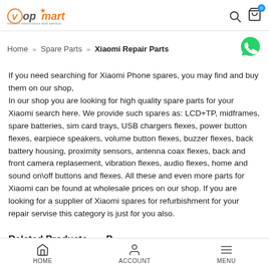[Figure (logo): Vopmart logo with orange star and tagline 'modern electronics and service']
Home » Spare Parts » Xiaomi Repair Parts
[Figure (illustration): Green WhatsApp icon circle]
If you need searching for Xiaomi Phone spares, you may find and buy them on our shop,
In our shop you are looking for high quality spare parts for your Xiaomi search here. We provide such spares as: LCD+TP, midframes, spare batteries, sim card trays, USB chargers flexes, power button flexes, earpiece speakers, volume button flexes, buzzer flexes, back battery housing, proximity sensors, antenna coax flexes, back and front camera replasement, vibration flexes, audio flexes, home and sound on\off buttons and flexes. All these and even more parts for Xiaomi can be found at wholesale prices on our shop. If you are looking for a supplier of Xiaomi spares for refurbishment for your repair servise this category is just for you also.
HOME   ACCOUNT   MENU